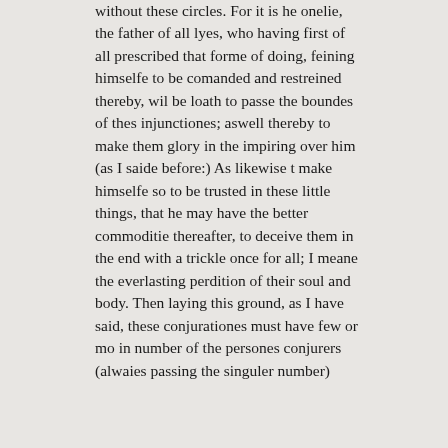without these circles. For it is he onelie, the father of all lyes, who having first of all prescribed that forme of doing, feining himselfe to be comanded and restreined thereby, wil be loath to passe the boundes of thes injunctiones; aswell thereby to make them glory in the impiring over him (as I saide before:) As likewise t make himselfe so to be trusted in these little things, that he may have the better commoditie thereafter, to deceive them in the end with a trickle once for all; I meane the everlasting perdition of their soul and body. Then laying this ground, as I have said, these conjurationes must have few or mo in number of the persones conjurers (alwaies passing the singuler number)